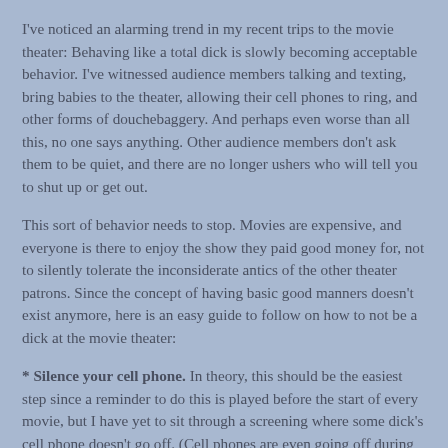I've noticed an alarming trend in my recent trips to the movie theater: Behaving like a total dick is slowly becoming acceptable behavior. I've witnessed audience members talking and texting, bring babies to the theater, allowing their cell phones to ring, and other forms of douchebaggery. And perhaps even worse than all this, no one says anything. Other audience members don't ask them to be quiet, and there are no longer ushers who will tell you to shut up or get out.
This sort of behavior needs to stop. Movies are expensive, and everyone is there to enjoy the show they paid good money for, not to silently tolerate the inconsiderate antics of the other theater patrons. Since the concept of having basic good manners doesn't exist anymore, here is an easy guide to follow on how to not be a dick at the movie theater:
* Silence your cell phone. In theory, this should be the easiest step since a reminder to do this is played before the start of every movie, but I have yet to sit through a screening where some dick's cell phone doesn't go off. (Cell phones are even going off during live theater performances, which is beyond appalling.) So just